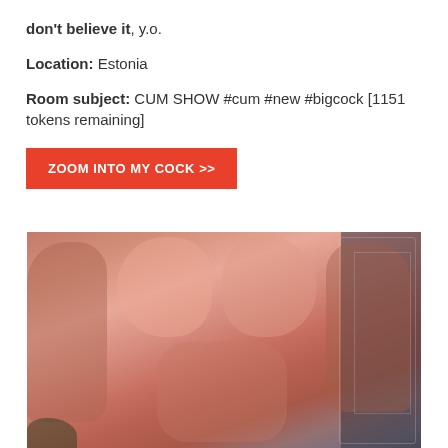don't believe it, y.o.
Location: Estonia
Room subject: CUM SHOW #cum #new #bigcock [1151 tokens remaining]
ZOOM INTO MY COCK >>
[Figure (photo): Photo of a muscular male torso, shirtless, showing chest and abdominal muscles, taken in a room with decorative wall art on the right side.]